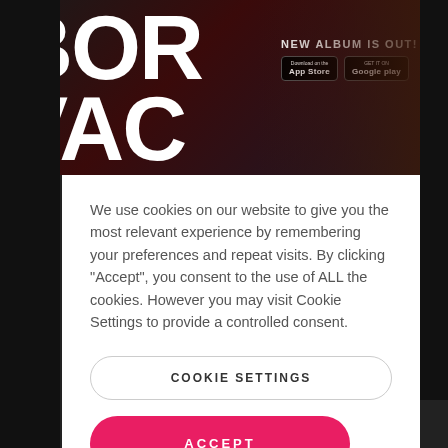[Figure (screenshot): Concert banner showing band name 'BORIS VACO' in large white letters on left, 'NEW ALBUM IS OUT!' text with App Store and Google Play buttons on right, guitarist silhouette in background with red/teal stage lighting]
We use cookies on our website to give you the most relevant experience by remembering your preferences and repeat visits. By clicking “Accept”, you consent to the use of ALL the cookies. However you may visit Cookie Settings to provide a controlled consent.
COOKIE SETTINGS
ACCEPT
[Figure (photo): Row of concert/event photo thumbnails at bottom of page]